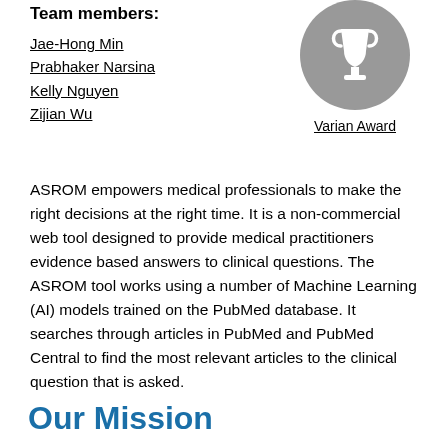Team members:
Jae-Hong Min
Prabhaker Narsina
Kelly Nguyen
Zijian Wu
[Figure (illustration): Trophy icon in a grey circle with label 'Varian Award' below]
Varian Award
ASROM empowers medical professionals to make the right decisions at the right time. It is a non-commercial web tool designed to provide medical practitioners evidence based answers to clinical questions. The ASROM tool works using a number of Machine Learning (AI) models trained on the PubMed database. It searches through articles in PubMed and PubMed Central to find the most relevant articles to the clinical question that is asked.
Our Mission